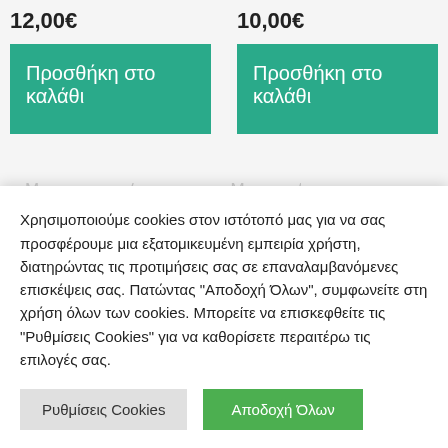12,00€
10,00€
Προσθήκη στο καλάθι
Προσθήκη στο καλάθι
Χρησιμοποιούμε cookies στον ιστότοπό μας για να σας προσφέρουμε μια εξατομικευμένη εμπειρία χρήστη, διατηρώντας τις προτιμήσεις σας σε επαναλαμβανόμενες επισκέψεις σας. Πατώντας "Αποδοχή Όλων", συμφωνείτε στη χρήση όλων των cookies. Μπορείτε να επισκεφθείτε τις "Ρυθμίσεις Cookies" για να καθορίσετε περαιτέρω τις επιλογές σας.
Ρυθμίσεις Cookies
Αποδοχή Όλων